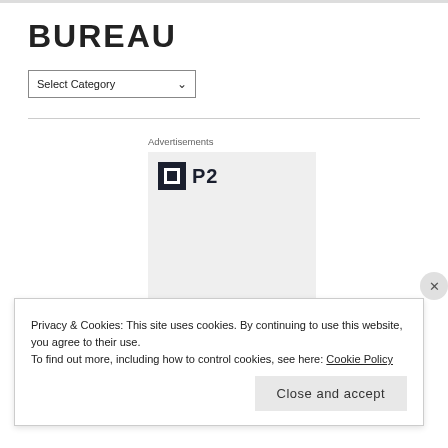BUREAU
[Figure (screenshot): Select Category dropdown menu]
Advertisements
[Figure (logo): P2 logo with dark square icon and bold P2 text]
Getting your team on the
Privacy & Cookies: This site uses cookies. By continuing to use this website, you agree to their use.
To find out more, including how to control cookies, see here: Cookie Policy
Close and accept